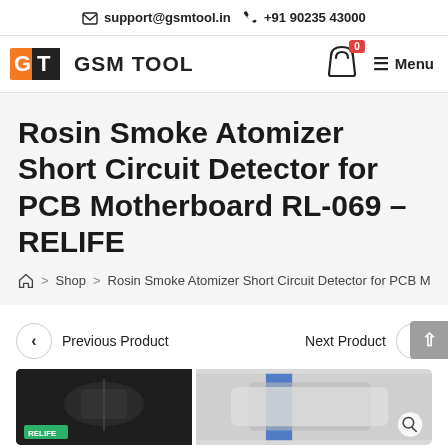✉ support@gsmtool.in 📞 +91 90235 43000
[Figure (logo): GSM TOOL logo with orange GT emblem and bold text 'GSM TOOL']
Rosin Smoke Atomizer Short Circuit Detector for PCB Motherboard RL-069 – RELIFE
Home > Shop > Rosin Smoke Atomizer Short Circuit Detector for PCB M
Previous Product
Next Product
[Figure (photo): Two product images side by side: left shows product on dark background with green tag, right shows product with blue element on grey background with search icon overlay]